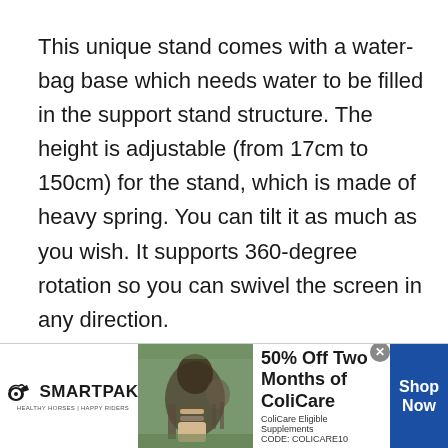This unique stand comes with a water-bag base which needs water to be filled in the support stand structure. The height is adjustable (from 17cm to 150cm) for the stand, which is made of heavy spring. You can tilt it as much as you wish. It supports 360-degree rotation so you can swivel the screen in any direction.
[Figure (other): SmartPak advertisement banner: SmartPak logo on left, product image in center showing supplement jar and horse with rider, text '50% Off Two Months of ColiCare, ColiCare Eligible Supplements, CODE: COLICARE10' and 'Shop Now' button on right in blue.]